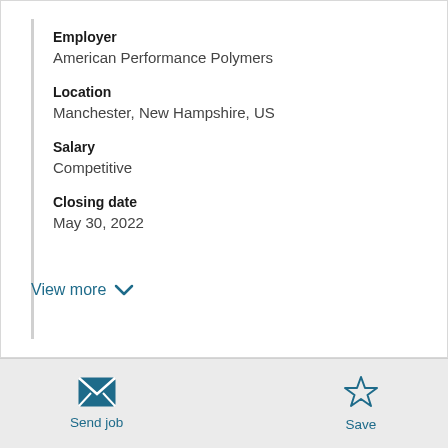Employer
American Performance Polymers
Location
Manchester, New Hampshire, US
Salary
Competitive
Closing date
May 30, 2022
View more
Send job
Save